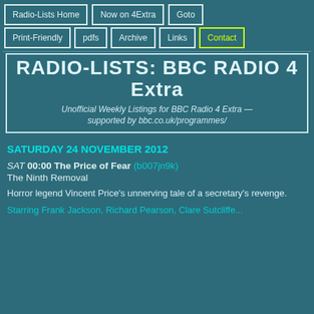Radio-Lists Home | Now on 4Extra | Goto | Print-Friendly | pdfs | Archive | Links | Contact
RADIO-LISTS: BBC RADIO 4 Extra
Unofficial Weekly Listings for BBC Radio 4 Extra — supported by bbc.co.uk/programmes/
SATURDAY 24 NOVEMBER 2012
SAT 00:00 The Price of Fear (b007jn9k)
The Ninth Removal
Horror legend Vincent Price's unnerving tale of a secretary's revenge.
Starring Frank Jackson, Richard Pearson, Clare Sutcliffe...